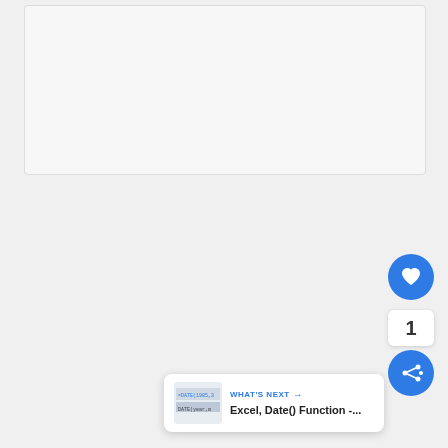[Figure (screenshot): A light gray/white rectangular card area representing a content area or spreadsheet screenshot placeholder]
[Figure (screenshot): A circular blue heart/like button UI element with heart icon]
1
[Figure (screenshot): A circular blue share button UI element with share icon]
[Figure (screenshot): What's Next card with thumbnail showing DATE formula and text: Excel, Date() Function -...]